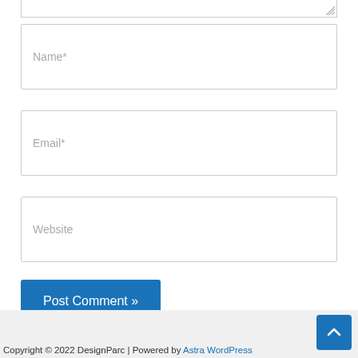[Figure (screenshot): Partial bottom edge of a textarea form field with resize handle]
Name*
Email*
Website
Post Comment »
Copyright © 2022 DesignParc | Powered by Astra WordPress